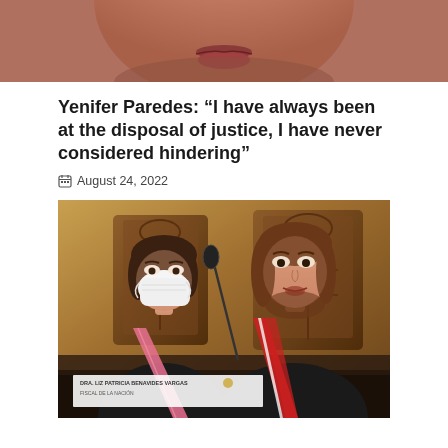[Figure (photo): Cropped photo showing lower portion of a woman's face (chin and lips area)]
Yenifer Paredes: “I have always been at the disposal of justice, I have never considered hindering”
August 24, 2022
[Figure (photo): Two women in black suits with red and white sashes seated at a formal table with ornate wooden chairs. The woman on the left wears a white face mask. A nameplate reading 'DRA. LIZ PATRICIA BENAVIDES VARGAS FISCAL DE LA NACION' is visible in the foreground.]